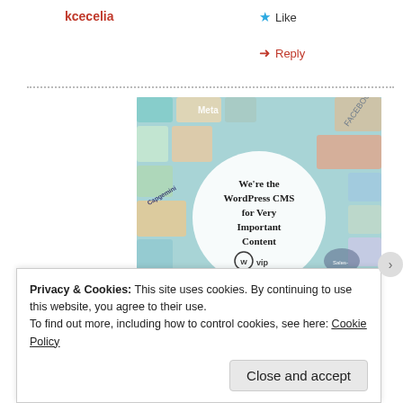kcecelia
★ Like
➜ Reply
[Figure (illustration): WordPress VIP advertisement showing colorful brand logo tiles in background with a white circle overlay containing text 'We're the WordPress CMS for Very Important Content' with WP VIP logo and 'Learn more →' button]
Privacy & Cookies: This site uses cookies. By continuing to use this website, you agree to their use.
To find out more, including how to control cookies, see here: Cookie Policy
Close and accept